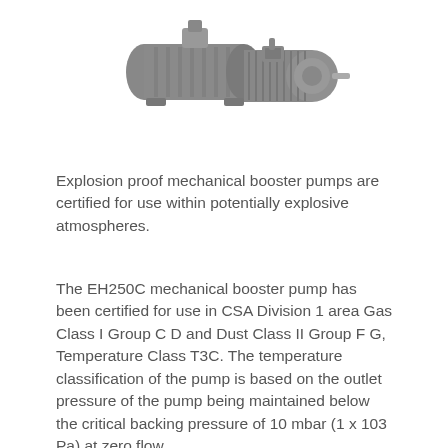[Figure (photo): Photograph of an EH250C explosion-proof mechanical booster pump — a large industrial vacuum pump with cylindrical motor attached, shown in gray on white background.]
Explosion proof mechanical booster pumps are certified for use within potentially explosive atmospheres.
The EH250C mechanical booster pump has been certified for use in CSA Division 1 area Gas Class I Group C D and Dust Class II Group F G, Temperature Class T3C. The temperature classification of the pump is based on the outlet pressure of the pump being maintained below the critical backing pressure of 10 mbar (1 x 103 Pa) at zero flow.